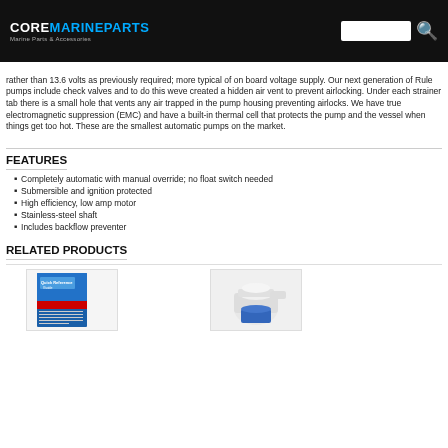COREMARINEPARTS — Marine Parts & Accessories
rather than 13.6 volts as previously required; more typical of on board voltage supply. Our next generation of Rule pumps include check valves and to do this weve created a hidden air vent to prevent airlocking. Under each strainer tab there is a small hole that vents any air trapped in the pump housing preventing airlocks. We have true electromagnetic suppression (EMC) and have a built-in thermal cell that protects the pump and the vessel when things get too hot. These are the smallest automatic pumps on the market.
FEATURES
Completely automatic with manual override; no float switch needed
Submersible and ignition protected
High efficiency, low amp motor
Stainless-steel shaft
Includes backflow preventer
RELATED PRODUCTS
[Figure (photo): Product image: Rule Quick Reference Guide booklet with blue cover and boat image]
[Figure (photo): Product image: Rule automatic bilge pump, white and blue]